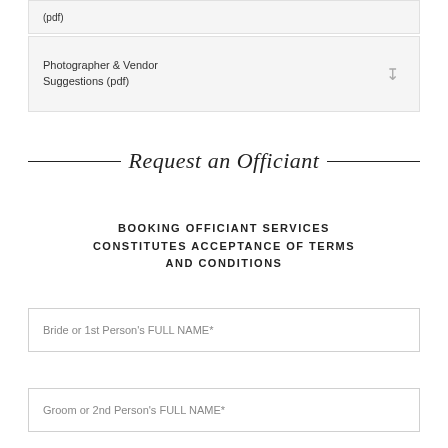(pdf)
Photographer & Vendor Suggestions (pdf)
Request an Officiant
BOOKING OFFICIANT SERVICES CONSTITUTES ACCEPTANCE OF TERMS AND CONDITIONS
Bride or 1st Person's FULL NAME*
Groom or 2nd Person's FULL NAME*